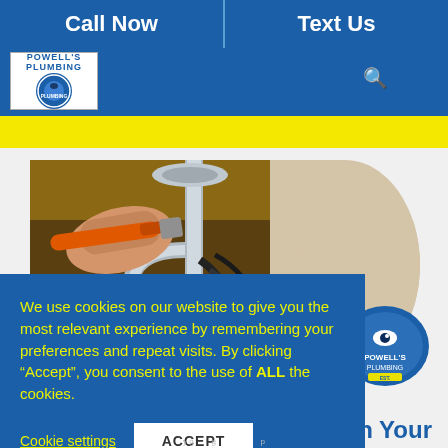Call Now | Text Us
[Figure (logo): Powell's Plumbing logo in white box on blue header bar]
[Figure (photo): Person working under a sink with a wrench on plumbing pipes]
[Figure (logo): Powell's Plumbing circular badge logo]
We use cookies on our website to give you the most relevant experience by remembering your preferences and repeat visits. By clicking “Accept”, you consent to the use of ALL the cookies.
Cookie settings
ACCEPT
wn Your